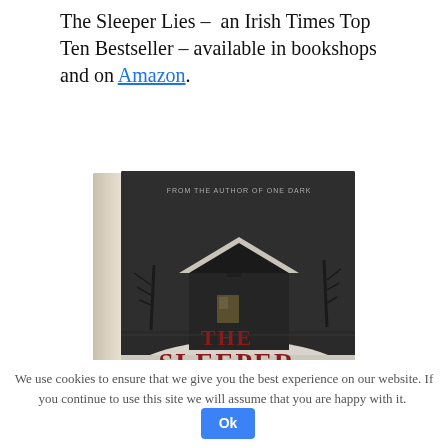The Sleeper Lies – an Irish Times Top Ten Bestseller – available in bookshops and on Amazon.
[Figure (photo): Book cover of 'The Sleeper Lies' by Andrea Ma, showing a dark house in a snowy landscape with bare trees. The title is in large red serif letters. Subtitle reads 'One window, three lies, 24 days is all it took'. From the author of One Dark.]
We use cookies to ensure that we give you the best experience on our website. If you continue to use this site we will assume that you are happy with it. Ok